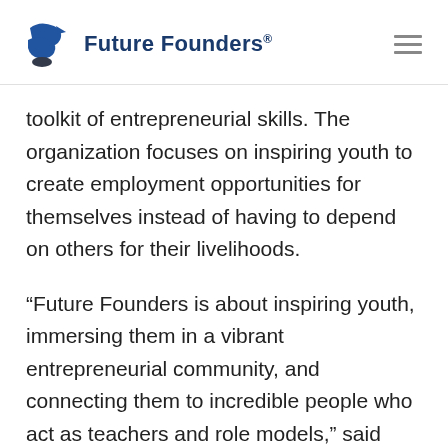Future Founders®
toolkit of entrepreneurial skills. The organization focuses on inspiring youth to create employment opportunities for themselves instead of having to depend on others for their livelihoods.
“Future Founders is about inspiring youth, immersing them in a vibrant entrepreneurial community, and connecting them to incredible people who act as teachers and role models,” said Future Founders Chairman